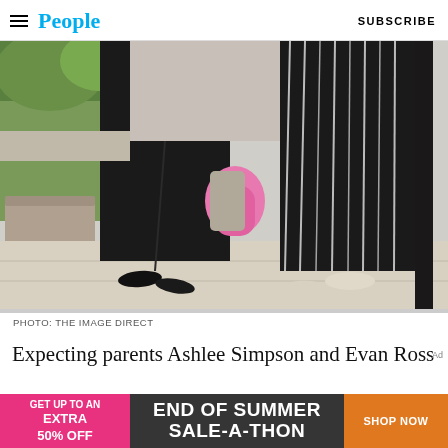People | SUBSCRIBE
[Figure (photo): Cropped photo showing the lower bodies of two people walking on a sidewalk. Left person wearing all black outfit with black slip-on shoes. Right person wearing black and white striped wide-leg trousers, black top, and white sneakers. A child between them holds a pink stuffed animal. Green plants visible in background.]
PHOTO: THE IMAGE DIRECT
Expecting parents Ashlee Simpson and Evan Ross
[Figure (infographic): Advertisement banner: GET UP TO AN EXTRA 50% OFF | END OF SUMMER SALE-A-THON | SHOP NOW]